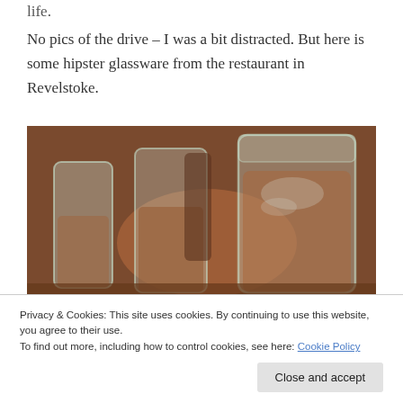life.
No pics of the drive – I was a bit distracted. But here is some hipster glassware from the restaurant in Revelstoke.
[Figure (photo): Photo of mason jar glasses on a wooden restaurant table, containing drinks with ice, in a warm amber light setting.]
Privacy & Cookies: This site uses cookies. By continuing to use this website, you agree to their use.
To find out more, including how to control cookies, see here: Cookie Policy